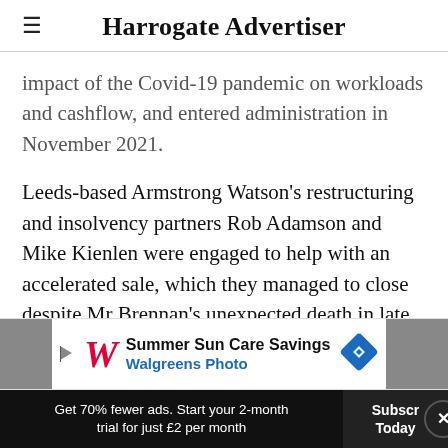Harrogate Advertiser
impact of the Covid-19 pandemic on workloads and cashflow, and entered administration in November 2021.
Leeds-based Armstrong Watson's restructuring and insolvency partners Rob Adamson and Mike Kienlen were engaged to help with an accelerated sale, which they managed to close despite Mr Brennan's unexpected death in late Nove
[Figure (other): Walgreens Photo advertisement banner: Summer Sun Care Savings]
Get 70% fewer ads. Start your 2-month trial for just £2 per month
Subscribe Today